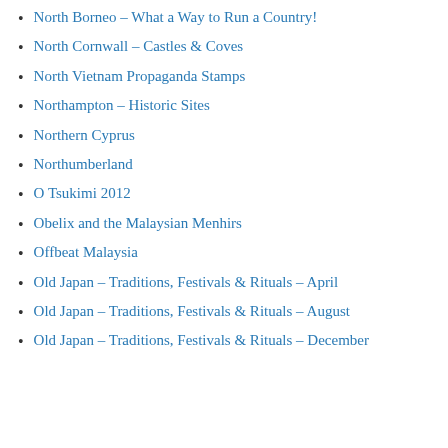North Borneo – What a Way to Run a Country!
North Cornwall – Castles & Coves
North Vietnam Propaganda Stamps
Northampton – Historic Sites
Northern Cyprus
Northumberland
O Tsukimi 2012
Obelix and the Malaysian Menhirs
Offbeat Malaysia
Old Japan – Traditions, Festivals & Rituals – April
Old Japan – Traditions, Festivals & Rituals – August
Old Japan – Traditions, Festivals & Rituals – December